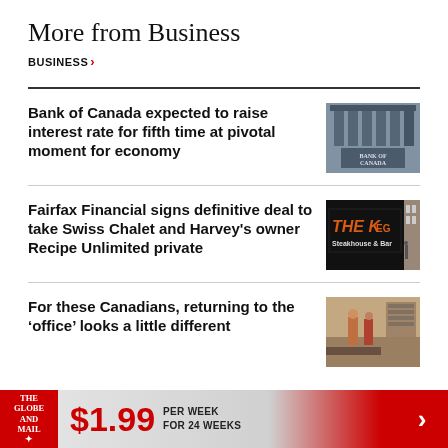More from Business
BUSINESS >
Bank of Canada expected to raise interest rate for fifth time at pivotal moment for economy
[Figure (photo): Bank of Canada building exterior stonework with engraved letters]
Fairfax Financial signs definitive deal to take Swiss Chalet and Harvey's owner Recipe Unlimited private
[Figure (photo): The Keg Steakhouse & Bar sign at night]
For these Canadians, returning to the ‘office’ looks a little different
[Figure (photo): Two people standing in what appears to be a small business or cafe]
THE GLOBE AND MAIL ★  $1.99 PER WEEK FOR 24 WEEKS  >